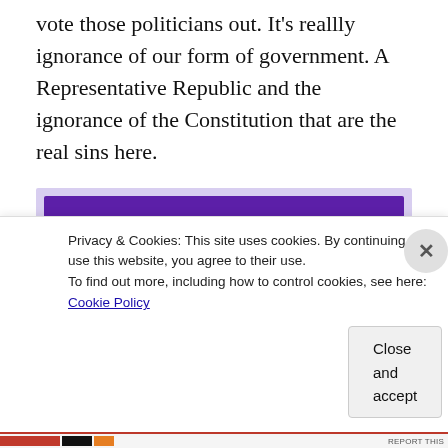vote those politicians out. It's reallly ignorance of our form of government. A Representative Republic and the ignorance of the Constitution that are the real sins here.
[Figure (illustration): Illustration of a hand with painted fingernails wearing a suit sleeve, holding a set of keys on a ring, against a purple background with a light lavender border.]
Privacy & Cookies: This site uses cookies. By continuing to use this website, you agree to their use.
To find out more, including how to control cookies, see here: Cookie Policy
Close and accept